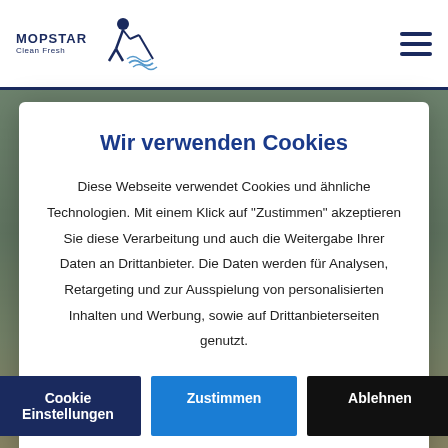MOPSTAR Clean Fresh
[Figure (screenshot): Background photo of cleaning workers wearing yellow gloves and green uniforms]
Wir verwenden Cookies
Diese Webseite verwendet Cookies und ähnliche Technologien. Mit einem Klick auf "Zustimmen" akzeptieren Sie diese Verarbeitung und auch die Weitergabe Ihrer Daten an Drittanbieter. Die Daten werden für Analysen, Retargeting und zur Ausspielung von personalisierten Inhalten und Werbung, sowie auf Drittanbieterseiten genutzt.
Cookie Einstellungen
Zustimmen
Ablehnen